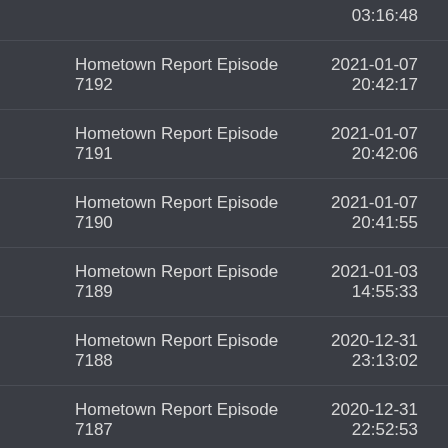03:16:48
Hometown Report Episode 7192 | 2021-01-07 20:42:17
Hometown Report Episode 7191 | 2021-01-07 20:42:06
Hometown Report Episode 7190 | 2021-01-07 20:41:55
Hometown Report Episode 7189 | 2021-01-03 14:55:33
Hometown Report Episode 7188 | 2020-12-31 23:13:02
Hometown Report Episode 7187 | 2020-12-31 22:52:53